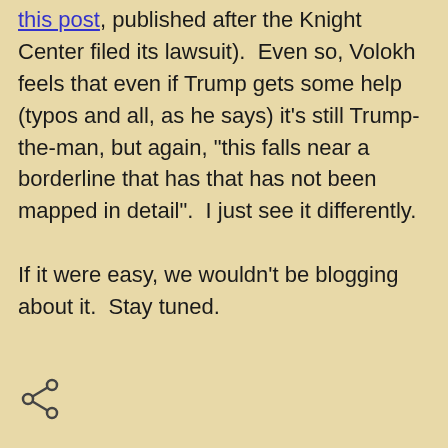this post, published after the Knight Center filed its lawsuit).  Even so, Volokh feels that even if Trump gets some help (typos and all, as he says) it's still Trump-the-man, but again, "this falls near a borderline that has that has not been mapped in detail".  I just see it differently.

If it were easy, we wouldn't be blogging about it.  Stay tuned.